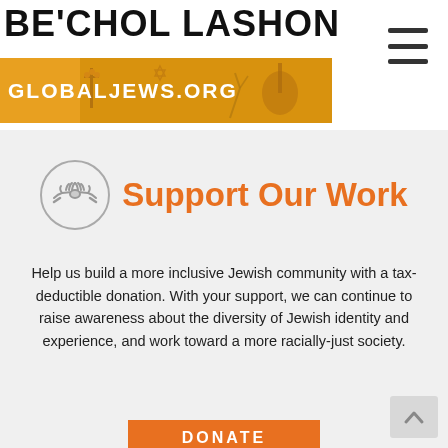BE'CHOL LASHON GLOBALJEWS.ORG
Support Our Work
Help us build a more inclusive Jewish community with a tax-deductible donation. With your support, we can continue to raise awareness about the diversity of Jewish identity and experience, and work toward a more racially-just society.
DONATE